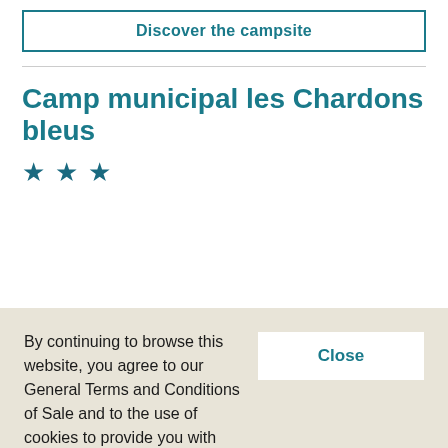Discover the campsite
Camp municipal les Chardons bleus
[Figure (illustration): Three blue stars indicating a 3-star rating]
By continuing to browse this website, you agree to our General Terms and Conditions of Sale and to the use of cookies to provide you with content and services adapted to your interests and to let you use buttons for sharing on social media. Find out more and manage these settings.
Close